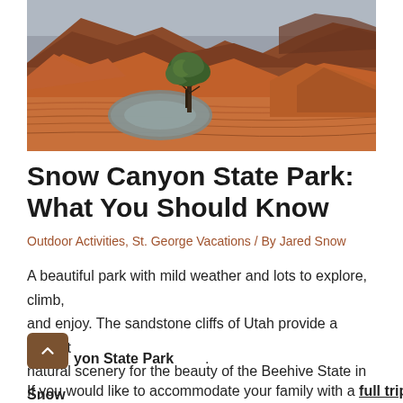[Figure (photo): Landscape photo of Snow Canyon State Park showing red sandstone rock formations, a reflective pool of water, a lone green tree, and dramatic canyon walls with cloudy sky in the background.]
Snow Canyon State Park: What You Should Know
Outdoor Activities, St. George Vacations / By Jared Snow
A beautiful park with mild weather and lots to explore, climb, and enjoy. The sandstone cliffs of Utah provide a perfect natural scenery for the beauty of the Beehive State in Snow Canyon State Park.
If you want to accommodate your family with a full trip that will